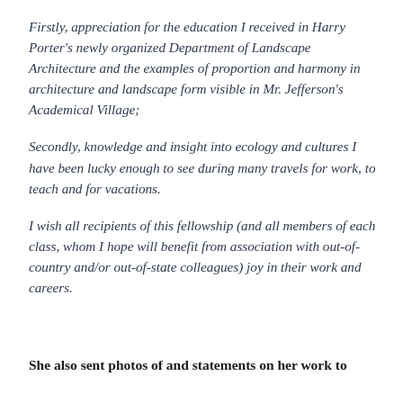Firstly, appreciation for the education I received in Harry Porter's newly organized Department of Landscape Architecture and the examples of proportion and harmony in architecture and landscape form visible in Mr. Jefferson's Academical Village;
Secondly, knowledge and insight into ecology and cultures I have been lucky enough to see during many travels for work, to teach and for vacations.
I wish all recipients of this fellowship (and all members of each class, whom I hope will benefit from association with out-of-country and/or out-of-state colleagues) joy in their work and careers.
She also sent photos of and statements on her work to